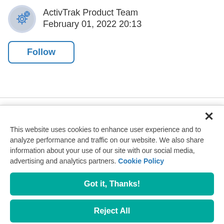ActivTrak Product Team
February 01, 2022 20:13
Follow
×
This website uses cookies to enhance user experience and to analyze performance and traffic on our website. We also share information about your use of our site with our social media, advertising and analytics partners. Cookie Policy
Got it, Thanks!
Reject All
Cookies Settings